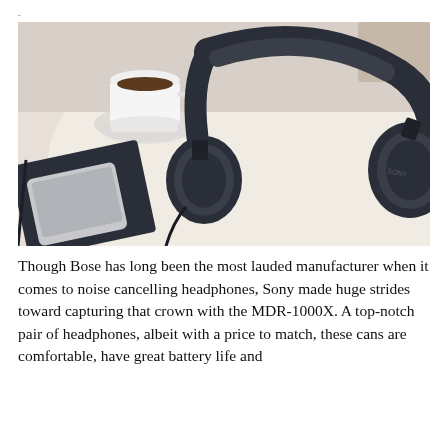-
[Figure (photo): Sony MDR-1000X noise cancelling headphones lying flat on a white round table, with a white espresso cup and saucer in the background and a smartphone resting on a dark notebook in the foreground left.]
Though Bose has long been the most lauded manufacturer when it comes to noise cancelling headphones, Sony made huge strides toward capturing that crown with the MDR-1000X. A top-notch pair of headphones, albeit with a price to match, these cans are comfortable, have great battery life and